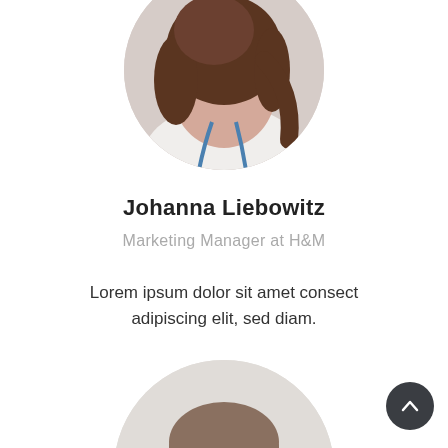[Figure (photo): Circular cropped profile photo of a woman with brown hair, partially visible, cut off at top of page]
Johanna Liebowitz
Marketing Manager at H&M
Lorem ipsum dolor sit amet consect adipiscing elit, sed diam.
[Figure (photo): Circular cropped profile photo of a smiling young man with short brown hair, partially visible at bottom of page]
[Figure (other): Dark circular scroll-to-top button with upward chevron arrow, positioned bottom-right]